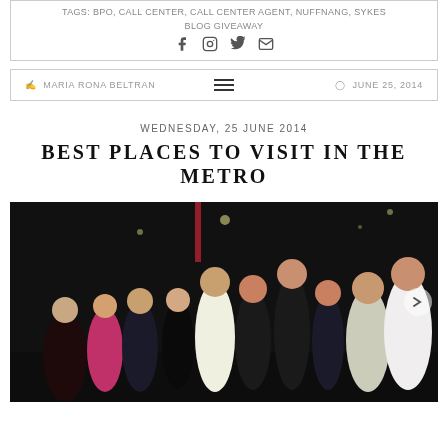TAGS: BPO, CALL CENTER, CALL CENTER AGENT, NUFFNANG, SYKES BLOG GIVEAWAY
Social share icons: Facebook, Instagram, Twitter, Email
MARIA RONA BELTRAN | JUNE 25, 2014
WEDNESDAY, 25 JUNE 2014
BEST PLACES TO VISIT IN THE METRO
[Figure (photo): Group photo of approximately 12 people posing outdoors at night, dark background with street lights visible. People are smiling and posing together.]